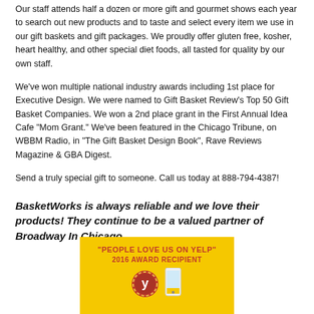Our staff attends half a dozen or more gift and gourmet shows each year to search out new products and to taste and select every item we use in our gift baskets and gift packages. We proudly offer gluten free, kosher, heart healthy, and other special diet foods, all tasted for quality by our own staff.
We've won multiple national industry awards including 1st place for Executive Design. We were named to Gift Basket Review's Top 50 Gift Basket Companies. We won a 2nd place grant in the First Annual Idea Cafe "Mom Grant." We've been featured in the Chicago Tribune, on WBBM Radio, in "The Gift Basket Design Book", Rave Reviews Magazine & GBA Digest.
Send a truly special gift to someone. Call us today at 888-794-4387!
BasketWorks is always reliable and we love their products! They continue to be a valued partner of Broadway In Chicago.
[Figure (infographic): Yelp award badge banner with yellow background. Text reads: 'PEOPLE LOVE US ON YELP' and '2016 AWARD RECIPIENT' in red. Includes a circular red Yelp badge on the left and a smartphone graphic on the right.]